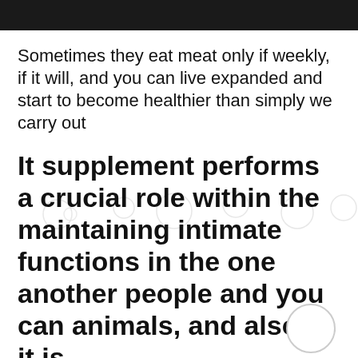Sometimes they eat meat only if weekly, if it will, and you can live expanded and start to become healthier than simply we carry out
It supplement performs a crucial role within the maintaining intimate functions in the one another people and you can animals, and also as it is